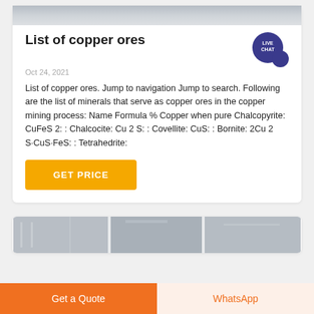[Figure (photo): Top photo strip of industrial/factory setting, grayscale]
List of copper ores
Oct 24, 2021
List of copper ores. Jump to navigation Jump to search. Following are the list of minerals that serve as copper ores in the copper mining process: Name Formula % Copper when pure Chalcopyrite: CuFeS 2: : Chalcocite: Cu 2 S: : Covellite: CuS: : Bornite: 2Cu 2 S·CuS·FeS: : Tetrahedrite:
[Figure (other): GET PRICE button (orange/yellow)]
[Figure (photo): Bottom photo strip of industrial/warehouse setting]
Get a Quote
WhatsApp